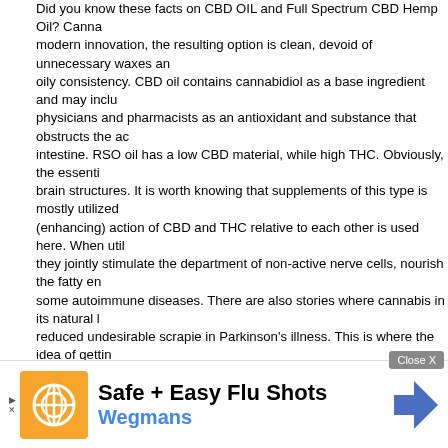Did you know these facts on CBD OIL and Full Spectrum CBD Hemp Oil? Cannabis modern innovation, the resulting option is clean, devoid of unnecessary waxes and oily consistency. CBD oil contains cannabidiol as a base ingredient and may include physicians and pharmacists as an antioxidant and substance that obstructs the ac intestine. RSO oil has a low CBD material, while high THC. Obviously, the essenti brain structures. It is worth knowing that supplements of this type is mostly utilized (enhancing) action of CBD and THC relative to each other is used here. When utili they jointly stimulate the department of non-active nerve cells, nourish the fatty en some autoimmune diseases. There are also stories where cannabis in its natural l reduced undesirable scrapie in Parkinson's illness. This is where the idea of gettin type CBD and RSO likewise consist of other cannabinoids, such as cannabichrom frequently has actually a structure expanded to include flavones, flavonoids, terpe motives assisting humankind to use one or the other item. CBD medical marijuana century disease. It's finest to utilize all of these substances together, as nature cre hobby APR contains small quantities of CBD, stabilized by the existence of THC. I while deserting the presence of CBC and CBG. Why such a decision? – Modern s illness, while CBC or CBG show minimal activity in the existence of both substanc solution seems to be unneeded. In addition, the cannabis stress from which THC a is completely illegal in Poland, which is why it can not be obtained in any lawfully m getting it, but it's good to understand that substances acquired artificially in home family RSO is generally fuel, alcohol and even kerosene, which rather of treating, bring anything new to the medical world. Cannabis oil has actually already marked what our ancestors had already seen and use the substantial potential, in the beg Medical marijuana, contrary to its name, does not suggest fermented female inflor however a helpful oil without psychoactive THC. A standard after taking de cannabinoids in the blood, can take pleasure in increased resistance, minimized v attack. C may include e material, ise contain CBD me eloped to se
[Figure (other): Advertisement banner for Wegmans 'Safe + Easy Flu Shots' with orange logo icon, blue play arrow, text and a road sign arrow icon]